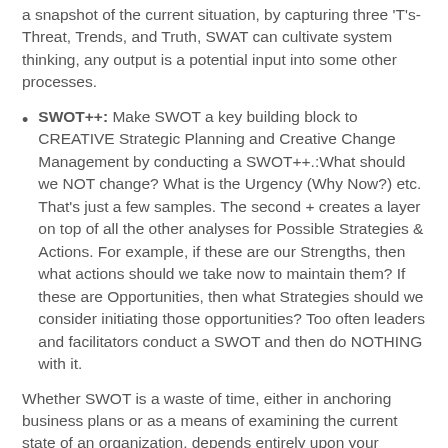a snapshot of the current situation, by capturing three 'T's-Threat, Trends, and Truth, SWAT can cultivate system thinking, any output is a potential input into some other processes.
SWOT++: Make SWOT a key building block to CREATIVE Strategic Planning and Creative Change Management by conducting a SWOT++.:What should we NOT change? What is the Urgency (Why Now?) etc. That's just a few samples. The second + creates a layer on top of all the other analyses for Possible Strategies & Actions. For example, if these are our Strengths, then what actions should we take now to maintain them? If these are Opportunities, then what Strategies should we consider initiating those opportunities? Too often leaders and facilitators conduct a SWOT and then do NOTHING with it.
Whether SWOT is a waste of time, either in anchoring business plans or as a means of examining the current state of an organization, depends entirely upon your perspective.